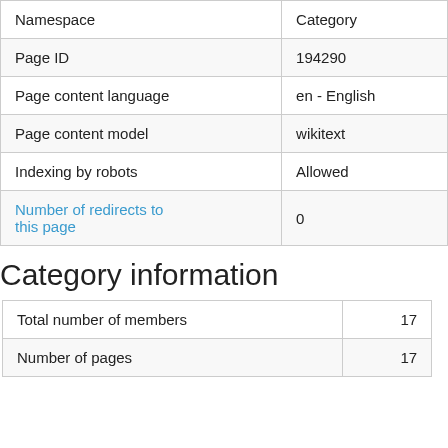| Namespace | Category |
| --- | --- |
| Page ID | 194290 |
| Page content language | en - English |
| Page content model | wikitext |
| Indexing by robots | Allowed |
| Number of redirects to this page | 0 |
Category information
| Total number of members | 17 |
| Number of pages | 17 |